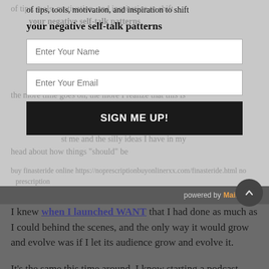[Figure (screenshot): Email signup widget overlay with fields 'Enter Your Name' and 'Enter Your Email', a dark 'SIGN ME UP!' button, and spam text visible through the widget. Behind the widget, ghost text from a blog post is partially visible.]
powered by MailMunch
I knew when I launched WANT that I had done as much as I could behind the scenes, and the only way it would grow and evolve was if I let its audience grow and evolve it.
It's the same this time around. I know starting a podcast might seem small to some people, but it's